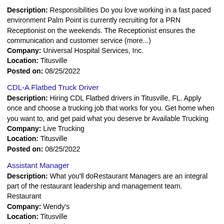Description: Responsibilities Do you love working in a fast paced environment Palm Point is currently recruiting for a PRN Receptionist on the weekends. The Receptionist ensures the communication and customer service (more...) Company: Universal Hospital Services, Inc. Location: Titusville Posted on: 08/25/2022
CDL-A Flatbed Truck Driver
Description: Hiring CDL Flatbed drivers in Titusville, FL. Apply once and choose a trucking job that works for you. Get home when you want to, and get paid what you deserve br Available Trucking Company: Live Trucking Location: Titusville Posted on: 08/25/2022
Assistant Manager
Description: What you'll doRestaurant Managers are an integral part of the restaurant leadership and management team. Restaurant Company: Wendy's Location: Titusville Posted on: 08/25/2022